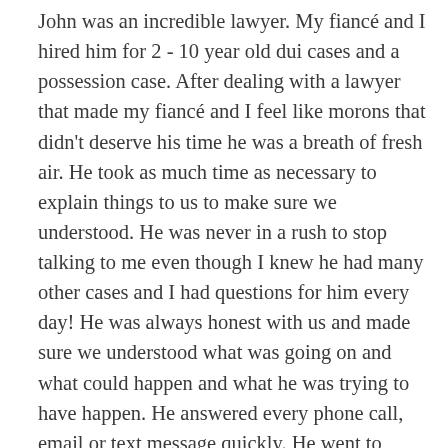John was an incredible lawyer. My fiancé and I hired him for 2 - 10 year old dui cases and a possession case. After dealing with a lawyer that made my fiancé and I feel like morons that didn't deserve his time he was a breath of fresh air. He took as much time as necessary to explain things to us to make sure we understood. He was never in a rush to stop talking to me even though I knew he had many other cases and I had questions for him every day! He was always honest with us and made sure we understood what was going on and what could happen and what he was trying to have happen. He answered every phone call, email or text message quickly. He went to speak with my fiancé while he was incarcerated which was very appreciated. I hope to never need to hire a lawyer again but if I do I'm glad we know John. As far as the outcome he got us better results than we could have hoped for. For 2 dui's he told us to expect 2 - 48 hour sentences and my fiancé got 6-12 months' probation. For the possession charge